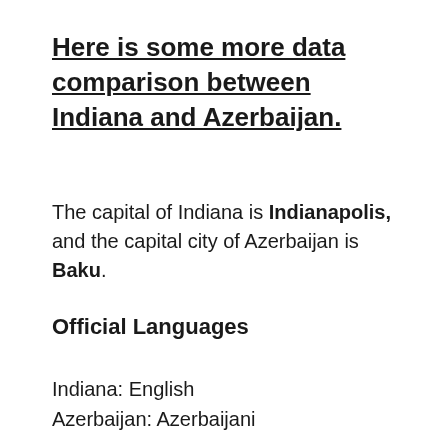Here is some more data comparison between Indiana and Azerbaijan.
The capital of Indiana is Indianapolis, and the capital city of Azerbaijan is Baku.
Official Languages
Indiana: English
Azerbaijan: Azerbaijani